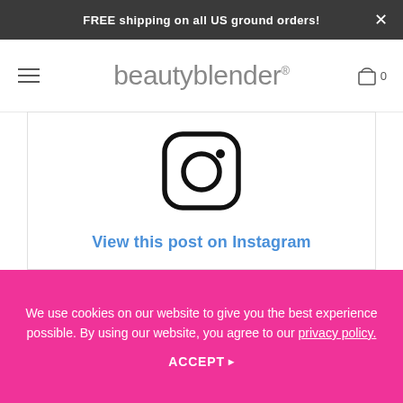FREE shipping on all US ground orders!
beautyblender®
[Figure (logo): Instagram logo icon — rounded square with circle and dot]
View this post on Instagram
We use cookies on our website to give you the best experience possible. By using our website, you agree to our privacy policy.
ACCEPT ▸